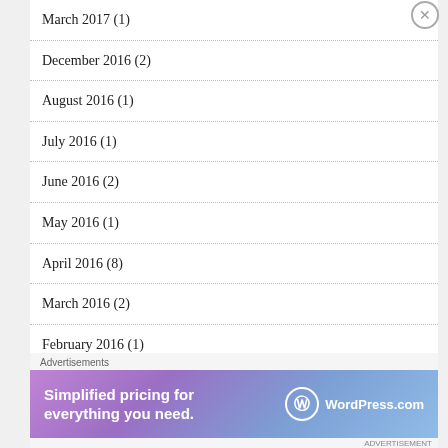March 2017 (1)
December 2016 (2)
August 2016 (1)
July 2016 (1)
June 2016 (2)
May 2016 (1)
April 2016 (8)
March 2016 (2)
February 2016 (1)
January 2016 (12)
Advertisements
[Figure (other): WordPress.com advertisement banner: Simplified pricing for everything you need.]